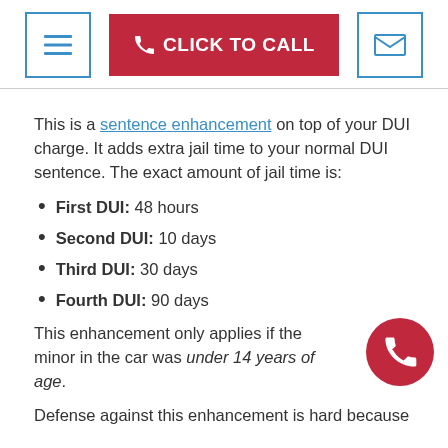CLICK TO CALL
This is a sentence enhancement on top of your DUI charge. It adds extra jail time to your normal DUI sentence. The exact amount of jail time is:
First DUI: 48 hours
Second DUI: 10 days
Third DUI: 30 days
Fourth DUI: 90 days
This enhancement only applies if the minor in the car was under 14 years of age.
Defense against this enhancement is hard because